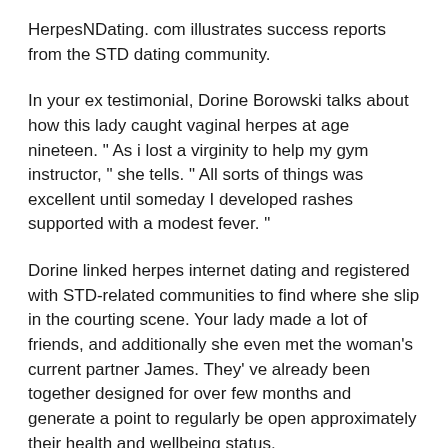HerpesNDating. com illustrates success reports from the STD dating community.
In your ex testimonial, Dorine Borowski talks about how this lady caught vaginal herpes at age nineteen. " As i lost a virginity to help my gym instructor, " she tells. " All sorts of things was excellent until someday I developed rashes supported with a modest fever. "
Dorine linked herpes internet dating and registered with STD-related communities to find where she slip in the courting scene. Your lady made a lot of friends, and additionally she even met the woman's current partner James. They' ve already been together designed for over few months and generate a point to regularly be open approximately their health and wellbeing status.
A lot of readers can relate to Dorine' s experiences in the online dating scene, in addition to it' lenses inspirational to hear about